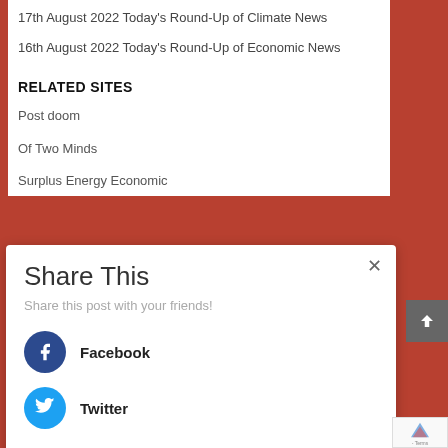17th August 2022 Today's Round-Up of Climate News
16th August 2022 Today's Round-Up of Economic News
RELATED SITES
Post doom
Of Two Minds
Surplus Energy Economic
Share This
Share this post with your friends!
Facebook
Twitter